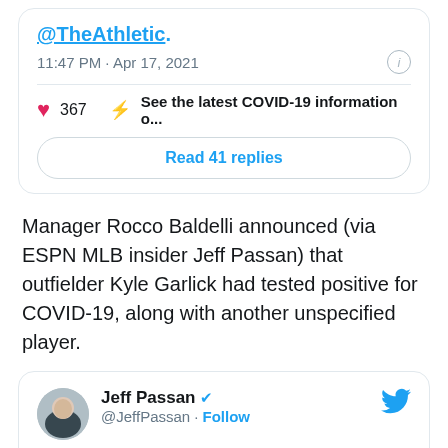@TheAthletic.
11:47 PM · Apr 17, 2021
367   See the latest COVID-19 information o...
Read 41 replies
Manager Rocco Baldelli announced (via ESPN MLB insider Jeff Passan) that outfielder Kyle Garlick had tested positive for COVID-19, along with another unspecified player.
Jeff Passan @JeffPassan · Follow
Twins manager Rocco Baldelli says Kyle Garlick has tested positive for COVID-19 and another player had tested positive as well. That is in addition to Andrelton...